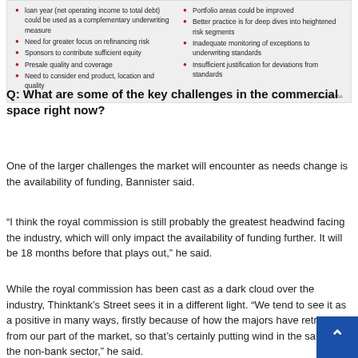[Figure (infographic): Two-column list in a grey box with red bullet points. Left column: items about loan year ratio, refinancing risk, sponsors equity, presale quality and coverage, end product location and quality. Right column: items about portfolio areas improved, deep dives, monitoring exceptions, insufficient justification for deviations. Source: APRA.]
Q: What are some of the key challenges in the commercial space right now?
One of the larger challenges the market will encounter as needs change is the availability of funding, Bannister said.
“I think the royal commission is still probably the greatest headwind facing the industry, which will only impact the availability of funding further. It will be 18 months before that plays out,” he said.
While the royal commission has been cast as a dark cloud over the industry, Thinktank’s Street sees it in a different light. “We tend to see it as a positive in many ways, firstly because of how the majors have retracted from our part of the market, so that’s certainly putting wind in the sails of the non-bank sector,” he said.